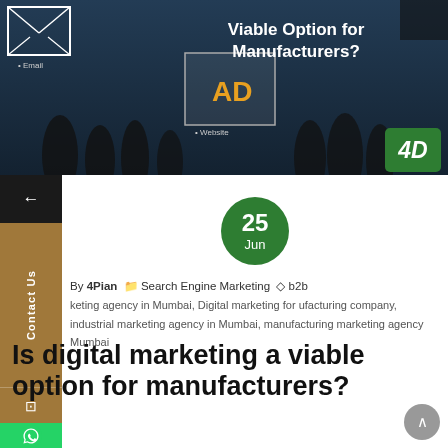[Figure (screenshot): Hero banner image with dark background showing silhouetted people, an envelope/email icon, an 'AD' display box, bar chart icons, and the 4D logo in green. Title text reads 'Viable Option for Manufacturers?']
Viable Option for Manufacturers?
25 Jun
By 4Pian   Search Engine Marketing   b2b keting agency in Mumbai, Digital marketing for ufacturing company, industrial marketing agency in Mumbai, manufacturing marketing agency Mumbai
Is digital marketing a viable option for manufacturers?